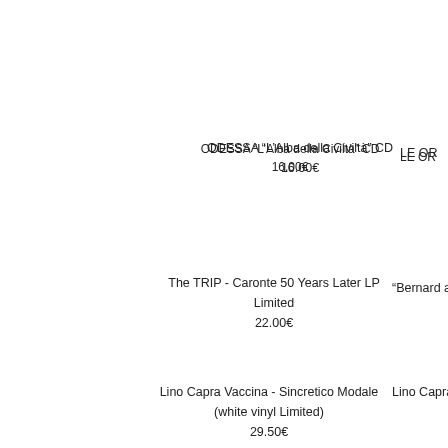ODESSA “L’Alba della Civiltà” CD
16.00€
LE OR
The TRIP - Caronte 50 Years Later LP Limited
22.00€
"Bernard and ROBINSO
Lino Capra Vaccina - Sincretico Modale (white vinyl Limited)
29.50€
Lino Capra V